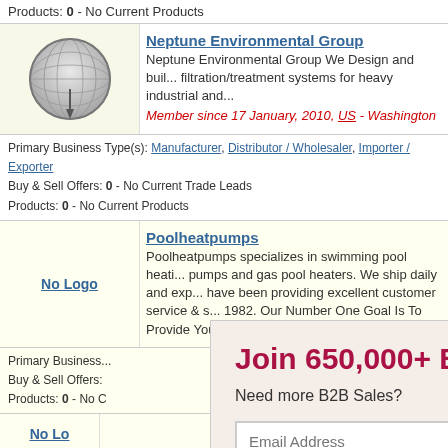Products: 0 - No Current Products
[Figure (logo): Neptune Environmental Group globe logo]
Neptune Environmental Group
Neptune Environmental Group We Design and build filtration/treatment systems for heavy industrial and...
Member since 17 January, 2010, US - Washington
Primary Business Type(s): Manufacturer, Distributor / Wholesaler, Importer / Exporter
Buy & Sell Offers: 0 - No Current Trade Leads
Products: 0 - No Current Products
Poolheatpumps
Poolheatpumps specializes in swimming pool heat pumps and gas pool heaters. We ship daily and exp... have been providing excellent customer service & s... 1982. Our Number One Goal Is To Provide You Wit...
No Logo
Primary Business...
Buy & Sell Offers:
Products: 0 - No C
No Lo
Primary Business
Buy & Sell Offers:
Products: No
This W
the
No Lo
Join 650,000+ B2B Members
Need more B2B Sales?
Email Address
Get More B2B Sales